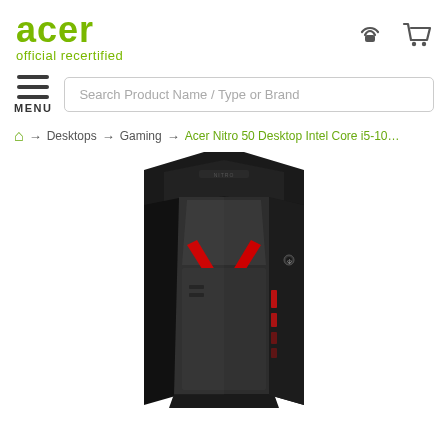[Figure (logo): Acer official recertified green logo]
[Figure (screenshot): Search bar with placeholder text 'Search Product Name / Type or Brand' and hamburger menu icon labeled MENU, plus phone and cart icons]
🏠 → Desktops → Gaming → Acer Nitro 50 Desktop Intel Core i5-10400F 2...
[Figure (photo): Acer Nitro 50 gaming desktop tower with angular black design, red V-shaped accent, and red LED lighting on the right side]